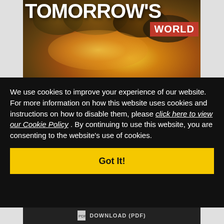[Figure (photo): Tomorrow's World magazine cover with large bold white title text 'TOMORROW'S' and red badge 'WORLD', with an explosion/mushroom cloud image in the background]
We use cookies to improve your experience of our website. For more information on how this website uses cookies and instructions on how to disable them, please click here to view our Cookie Policy . By continuing to use this website, you are consenting to the website's use of cookies.
Got It!
DOWNLOAD (PDF)